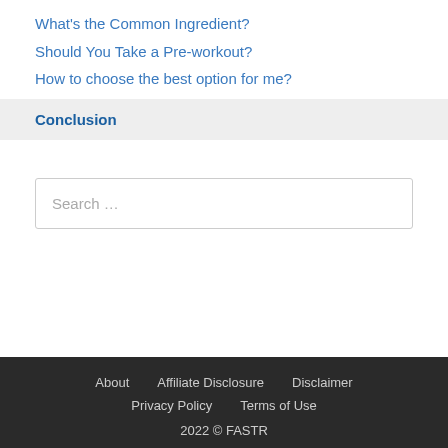What's the Common Ingredient?
Should You Take a Pre-workout?
How to choose the best option for me?
Conclusion
Search ...
About   Affiliate Disclosure   Disclaimer   Privacy Policy   Terms of Use   2022 © FASTR